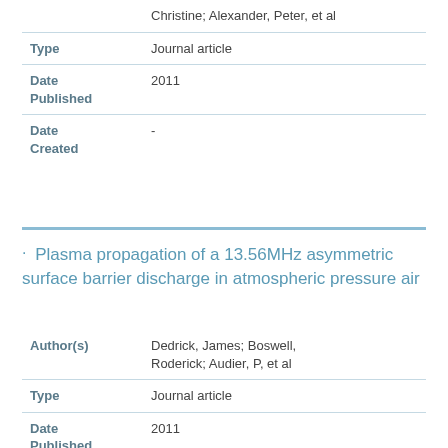| Field | Value |
| --- | --- |
|  | Christine; Alexander, Peter, et al |
| Type | Journal article |
| Date Published | 2011 |
| Date Created | - |
Plasma propagation of a 13.56MHz asymmetric surface barrier discharge in atmospheric pressure air
| Field | Value |
| --- | --- |
| Author(s) | Dedrick, James; Boswell, Roderick; Audier, P, et al |
| Type | Journal article |
| Date Published | 2011 |
| Date Created | - |